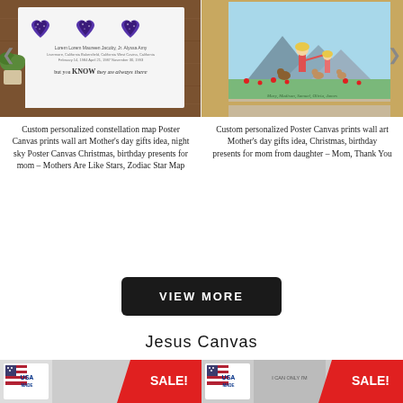[Figure (photo): Custom personalized constellation map poster canvas print on wooden table background, showing heart-shaped star maps]
[Figure (photo): Custom personalized poster canvas print showing mother and daughter illustration with mountains and flower field background]
Custom personalized constellation map Poster Canvas prints wall art Mother's day gifts idea, night sky Poster Canvas Christmas, birthday presents for mom – Mothers Are Like Stars, Zodiac Star Map
Custom personalized Poster Canvas prints wall art Mother's day gifts idea, Christmas, birthday presents for mom from daughter – Mom, Thank You
VIEW MORE
Jesus Canvas
[Figure (photo): Bottom left product with USA MADE badge and SALE! banner]
[Figure (photo): Bottom right product with USA MADE badge and SALE! banner]